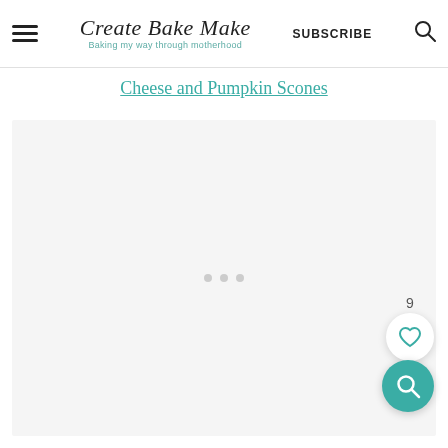Create Bake Make — Baking my way through motherhood | SUBSCRIBE
Cheese and Pumpkin Scones
[Figure (photo): Light grey placeholder content area with three grey loading dots in the center, a white circular heart/save button with '9' count above it on the right, and a teal circular search button below it on the right.]